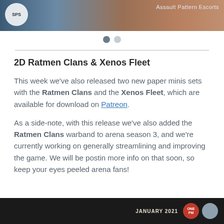[Figure (photo): Top banner image with fantasy artwork showing a creature/character, with a logo circle on the left and text 'Assault Pattern Escorts' on the right]
[Figure (other): Two navigation dots, one dark (active) and one light (inactive)]
2D Ratmen Clans & Xenos Fleet
This week we've also released two new paper minis sets with the Ratmen Clans and the Xenos Fleet, which are available for download on Patreon.
As a side-note, with this release we've also added the Ratmen Clans warband to arena season 3, and we're currently working on generally streamlining and improving the game. We will be postin more info on that soon, so keep your eyes peeled arena fans!
[Figure (other): Bottom dark banner with 'JANUARY 2021' text and badge/avatar icons on the right]